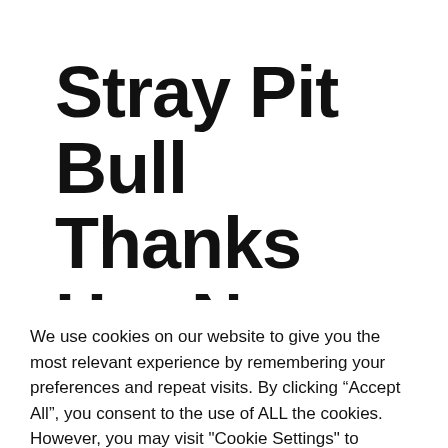Stray Pit Bull Thanks Her New Human By Saving His Life
We use cookies on our website to give you the most relevant experience by remembering your preferences and repeat visits. By clicking “Accept All”, you consent to the use of ALL the cookies. However, you may visit "Cookie Settings" to provide a controlled consent.